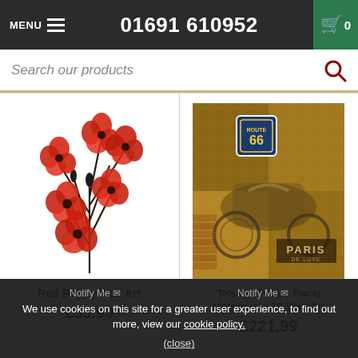MENU  01691 610952  0
Search our products
[Figure (illustration): Red Poppy Wall Art metal sculpture with red poppy flowers on dark stems]
Red Poppy Wall Art
£53.99
[Figure (illustration): Route 66 Cafe Racer Motorcycle 3D Wall Art vintage mixed media artwork]
'Route 66' Cafe Racer Motorcycle 3D Wall Art
£221.99
We use cookies on this site for a greater user experience, to find out more, view our cookie policy.
(close)